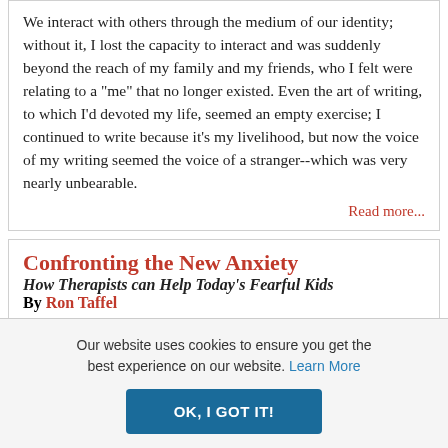We interact with others through the medium of our identity; without it, I lost the capacity to interact and was suddenly beyond the reach of my family and my friends, who I felt were relating to a "me" that no longer existed. Even the art of writing, to which I'd devoted my life, seemed an empty exercise; I continued to write because it's my livelihood, but now the voice of my writing seemed the voice of a stranger--which was very nearly unbearable.
Read more...
Confronting the New Anxiety
How Therapists can Help Today's Fearful Kids
By Ron Taffel
Our website uses cookies to ensure you get the best experience on our website. Learn More
OK, I GOT IT!